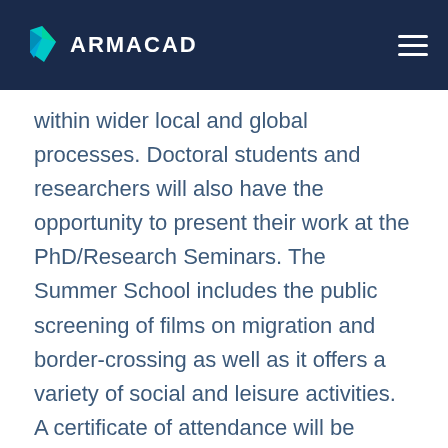ARMACAD
within wider local and global processes. Doctoral students and researchers will also have the opportunity to present their work at the PhD/Research Seminars. The Summer School includes the public screening of films on migration and border-crossing as well as it offers a variety of social and leisure activities. A certificate of attendance will be awarded to all participants.